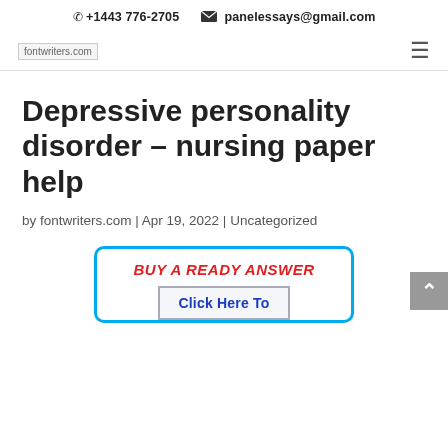✆ +1443 776-2705   ✉ panelessays@gmail.com
[Figure (logo): fontwriters.com logo image placeholder with site name text]
Depressive personality disorder – nursing paper help
by fontwriters.com | Apr 19, 2022 | Uncategorized
[Figure (screenshot): Banner with blue border showing 'BUY A READY ANSWER' in red italic bold text and a 'Click Here To' button in blue on gray background]